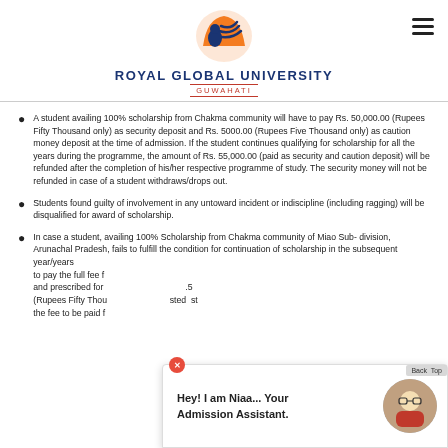[Figure (logo): Royal Global University Guwahati logo with orange and blue bird/sun emblem]
A student availing 100% scholarship from Chakma community will have to pay Rs. 50,000.00 (Rupees Fifty Thousand only) as security deposit and Rs. 5000.00 (Rupees Five Thousand only) as caution money deposit at the time of admission. If the student continues qualifying for scholarship for all the years during the programme, the amount of Rs. 55,000.00 (paid as security and caution deposit) will be refunded after the completion of his/her respective programme of study. The security money will not be refunded in case of a student withdraws/drops out.
Students found guilty of involvement in any untoward incident or indiscipline (including ragging) will be disqualified for award of scholarship.
In case a student, availing 100% Scholarship from Chakma community of Miao Sub- division, Arunachal Pradesh, fails to fulfill the condition for continuation of scholarship in the subsequent year/years to pay the full fee and prescribed for .5 (Rupees Fifty Thou sted st the fee to be paid f